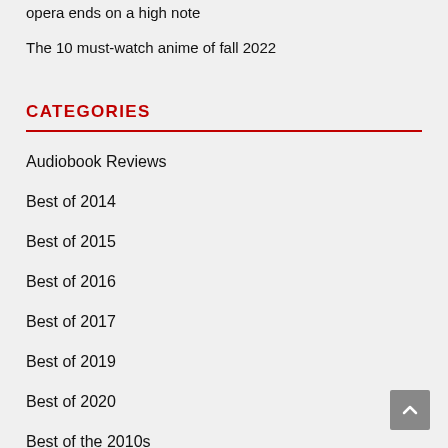opera ends on a high note
The 10 must-watch anime of fall 2022
CATEGORIES
Audiobook Reviews
Best of 2014
Best of 2015
Best of 2016
Best of 2017
Best of 2019
Best of 2020
Best of the 2010s